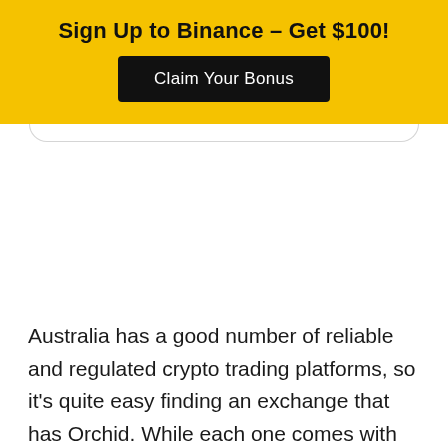Sign Up to Binance – Get $100!
[Figure (other): Black button with white text 'Claim Your Bonus']
Australia has a good number of reliable and regulated crypto trading platforms, so it's quite easy finding an exchange that has Orchid. While each one comes with